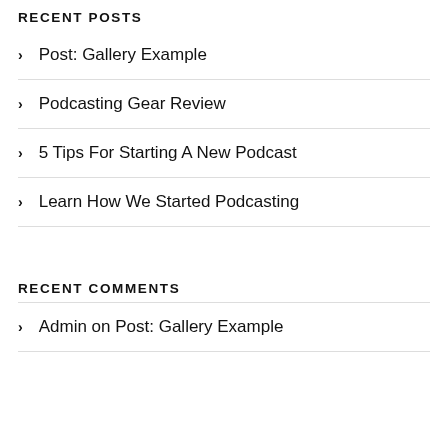RECENT POSTS
Post: Gallery Example
Podcasting Gear Review
5 Tips For Starting A New Podcast
Learn How We Started Podcasting
RECENT COMMENTS
Admin on Post: Gallery Example